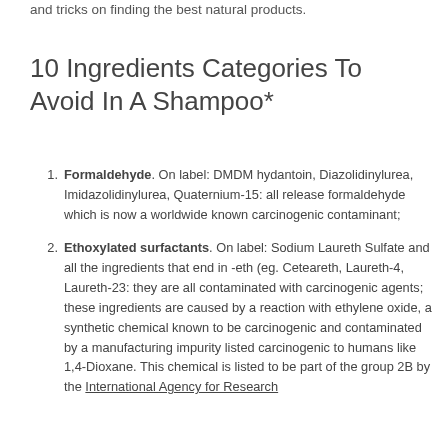and tricks on finding the best natural products.
10 Ingredients Categories To Avoid In A Shampoo*
Formaldehyde. On label: DMDM hydantoin, Diazolidinylurea, Imidazolidinylurea, Quaternium-15: all release formaldehyde which is now a worldwide known carcinogenic contaminant;
Ethoxylated surfactants. On label: Sodium Laureth Sulfate and all the ingredients that end in -eth (eg. Ceteareth, Laureth-4, Laureth-23: they are all contaminated with carcinogenic agents; these ingredients are caused by a reaction with ethylene oxide, a synthetic chemical known to be carcinogenic and contaminated by a manufacturing impurity listed carcinogenic to humans like 1,4-Dioxane. This chemical is listed to be part of the group 2B by the International Agency for Research